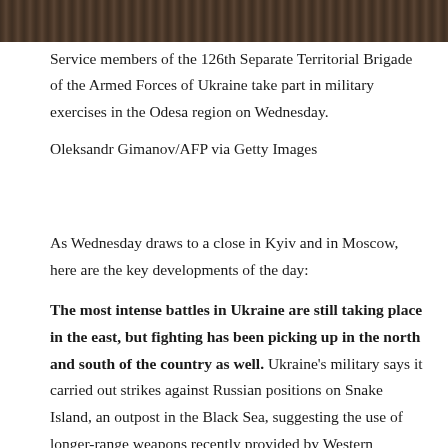[Figure (photo): Dark brown textured surface, partial view of a photograph - military exercise scene cropped at top]
Service members of the 126th Separate Territorial Brigade of the Armed Forces of Ukraine take part in military exercises in the Odesa region on Wednesday.
Oleksandr Gimanov/AFP via Getty Images
As Wednesday draws to a close in Kyiv and in Moscow, here are the key developments of the day:
The most intense battles in Ukraine are still taking place in the east, but fighting has been picking up in the north and south of the country as well. Ukraine's military says it carried out strikes against Russian positions on Snake Island, an outpost in the Black Sea, suggesting the use of longer-range weapons recently provided by Western countries. In northern Ukraine, Russia has stepped up shelling of Kharkiv, the country's second-largest city, where Ukrainian officials say long-range Russian shelling has